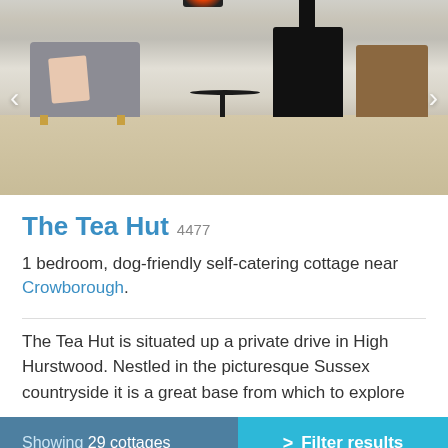[Figure (photo): Interior photo of a cozy cottage room showing a grey sofa with a pink cushion, a black bistro table and chairs, a black wood-burning stove with glowing fire, and a wicker basket on light wood flooring.]
The Tea Hut 4477
1 bedroom, dog-friendly self-catering cottage near Crowborough.
The Tea Hut is situated up a private drive in High Hurstwood. Nestled in the picturesque Sussex countryside it is a great base from which to explore
Showing 29 cottages  >  Filter results